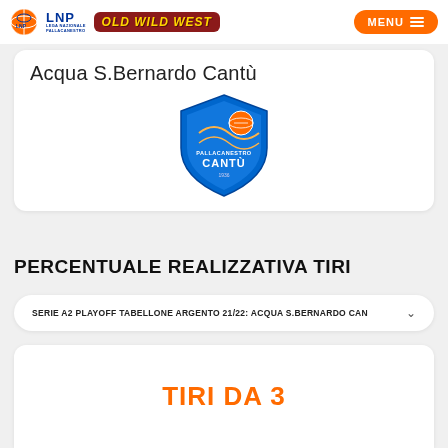LNP Lega Nazionale Pallacanestro | OLD WILD WEST | MENU
Acqua S.Bernardo Cantù
[Figure (logo): Pallacanestro Cantù shield logo in blue and orange]
PERCENTUALE REALIZZATIVA TIRI
SERIE A2 PLAYOFF TABELLONE ARGENTO 21/22: ACQUA S.BERNARDO CAN
TIRI DA 3